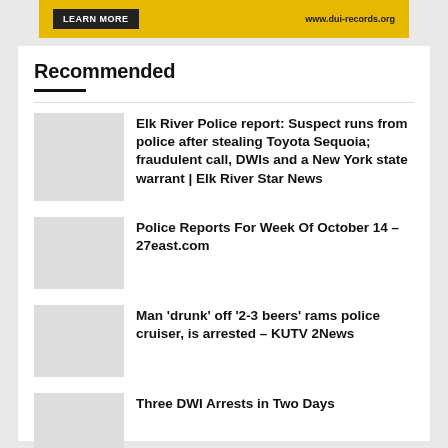[Figure (other): Yellow advertisement banner with LEARN MORE button and www.dui-records.org URL]
Recommended
Elk River Police report: Suspect runs from police after stealing Toyota Sequoia; fraudulent call, DWIs and a New York state warrant | Elk River Star News
Police Reports For Week Of October 14 – 27east.com
Man 'drunk' off '2-3 beers' rams police cruiser, is arrested – KUTV 2News
Three DWI Arrests in Two Days